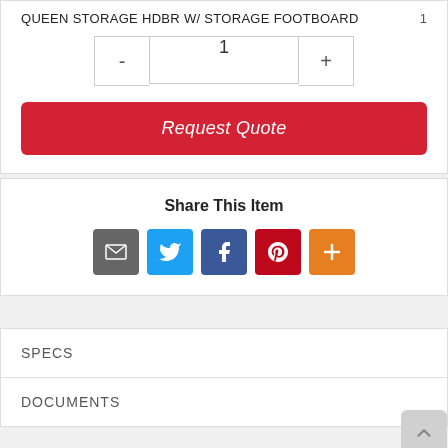QUEEN STORAGE HDBR W/ STORAGE FOOTBOARD
1
- 1 +
Request Quote
Share This Item
SPECS
DOCUMENTS